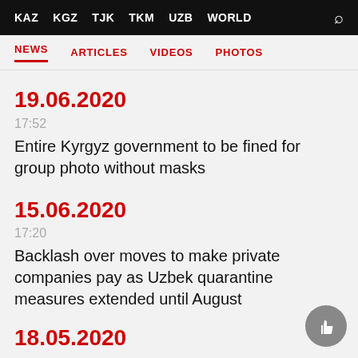KAZ  KGZ  TJK  TKM  UZB  WORLD
NEWS  ARTICLES  VIDEOS  PHOTOS
19.06.2020
17:52
Entire Kyrgyz government to be fined for group photo without masks
15.06.2020
17:20
Backlash over moves to make private companies pay as Uzbek quarantine measures extended until August
18.05.2020